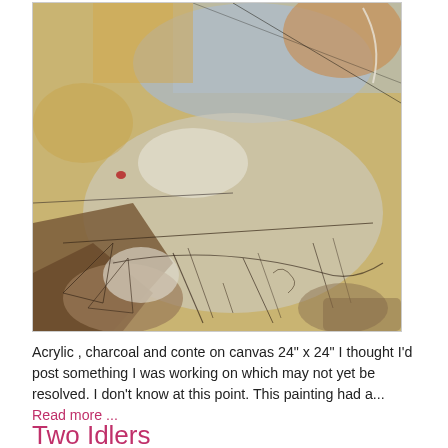[Figure (illustration): Abstract painting in acrylic, charcoal and conte on canvas. Mixed warm golden-tan and cool blue-grey tones with dark gestural line work. Lower left has darker brown earthy tones with loose figurative marks. Upper area has blue-grey washes and golden-tan textures.]
Acrylic , charcoal and conte on canvas 24" x 24" I thought I'd post something I was working on which may not yet be resolved. I don't know at this point. This painting had a... Read more ...
Two Idlers